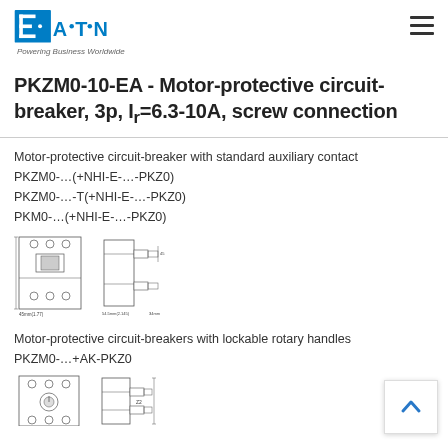EATON — Powering Business Worldwide
PKZM0-10-EA - Motor-protective circuit-breaker, 3p, Ir=6.3-10A, screw connection
Motor-protective circuit-breaker with standard auxiliary contact
PKZM0-…(+NHI-E-…-PKZ0)
PKZM0-…-T(+NHI-E-…-PKZ0)
PKM0-…(+NHI-E-…-PKZ0)
[Figure (engineering-diagram): Technical dimensional drawing of motor-protective circuit-breaker PKZM0, front and side views with dimensions]
Motor-protective circuit-breakers with lockable rotary handles
PKZM0-…+AK-PKZ0
[Figure (engineering-diagram): Technical dimensional drawing of motor-protective circuit-breaker with lockable rotary handle, front and side views]